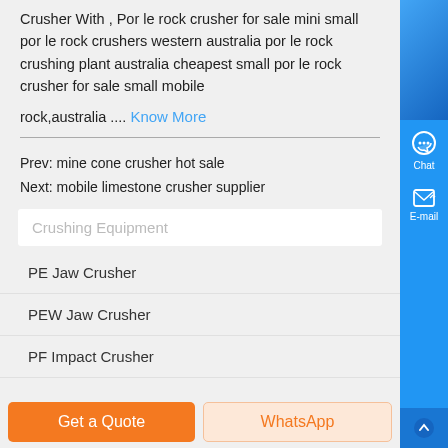Crusher With , Por le rock crusher for sale mini small por le rock crushers western australia por le rock crushing plant australia cheapest small por le rock crusher for sale small mobile
rock,australia .... Know More
Prev: mine cone crusher hot sale
Next: mobile limestone crusher supplier
Crushing Equipment
PE Jaw Crusher
PEW Jaw Crusher
PF Impact Crusher
Get a Quote
WhatsApp